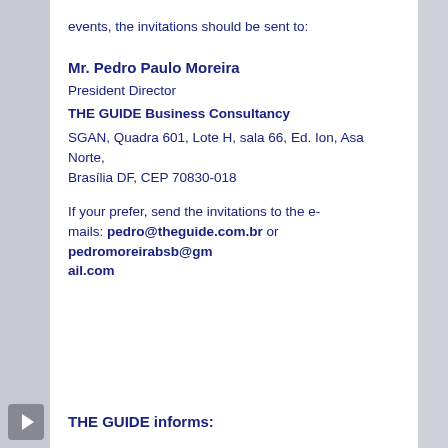events, the invitations should be sent to:
Mr. Pedro Paulo Moreira
President Director
THE GUIDE Business Consultancy
SGAN, Quadra 601, Lote H, sala 66, Ed. Ion, Asa Norte, Brasília DF, CEP 70830-018
If your prefer, send the invitations to the e-mails: pedro@theguide.com.br or pedromoreirabsb@gmail.com
THE GUIDE informs:
Central Park Conveniência has been distinguishing itself